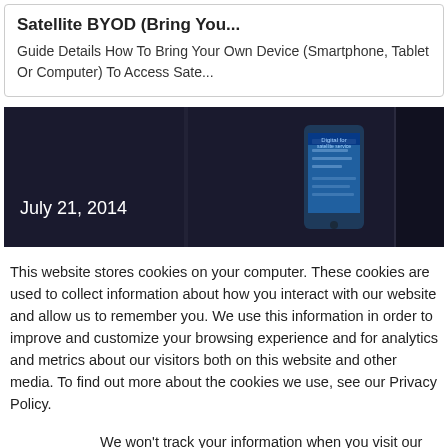Satellite BYOD (Bring You...
Guide Details How To Bring Your Own Device (Smartphone, Tablet Or Computer) To Access Sate...
[Figure (photo): Dark banner image with a smartphone/device, showing date July 21, 2014]
This website stores cookies on your computer. These cookies are used to collect information about how you interact with our website and allow us to remember you. We use this information in order to improve and customize your browsing experience and for analytics and metrics about our visitors both on this website and other media. To find out more about the cookies we use, see our Privacy Policy.
We won't track your information when you visit our site. But in order to comply with your preferences, we'll have to use just one tiny cookie so that you're not asked to make this choice again.
Accept
Decline